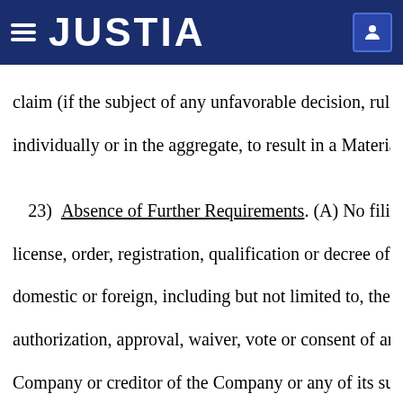JUSTIA
claim (if the subject of any unfavorable decision, ruling individually or in the aggregate, to result in a Material
23) Absence of Further Requirements. (A) No filing license, order, registration, qualification or decree, domestic or foreign, including but not limited to, the E authorization, approval, waiver, vote or consent of any Company or creditor of the Company or any of its sub consent under any Company Document, and (D) no au any other person or entity, is necessary or required fo performance of obligations by the Company of this Ag the Convertible Preferred Securities, the Purchase Co Agreement and the compliance by the Company with a offering of the Securities as contemplated by this Agre Securities to be sold by the Company pursuant to this the other transactions contemplated by this Agreeme Convertible Preferred Securities, the Purchase Contra